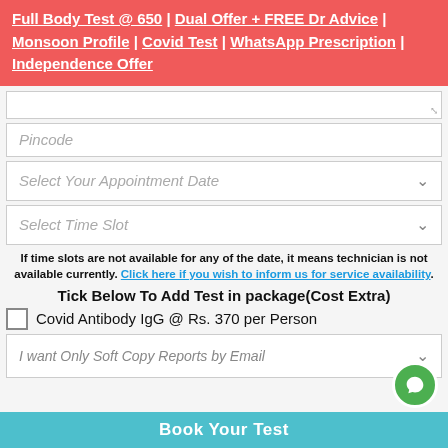Full Body Test @ 650 | Dual Offer + FREE Dr Advice | Monsoon Profile | Covid Test | WhatsApp Prescription | Independence Offer
Pincode
Select Your Appointment Date
Select Time Slot
If time slots are not available for any of the date, it means technician is not available currently. Click here if you wish to inform us for service availability.
Tick Below To Add Test in package(Cost Extra)
Covid Antibody IgG @ Rs. 370 per Person
I want Only Soft Copy Reports by Email
Book Your Test